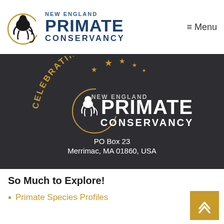[Figure (logo): New England Primate Conservancy logo with monkey silhouette in circular gold arc, with text NEW ENGLAND PRIMATE CONSERVANCY]
≡ Menu
[Figure (logo): Celebrating 20 Years New England Primate Conservancy anniversary logo on dark background with stars and gold arc]
PO Box 23
Merrimac, MA 01860, USA
So Much to Explore!
Primate Species Profiles